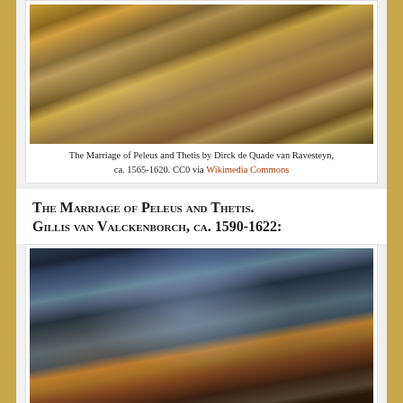[Figure (photo): The Marriage of Peleus and Thetis painting by Dirck de Quade van Ravesteyn, ca. 1565-1620. A Flemish Baroque painting showing a crowded mythological wedding feast scene with figures, cherubs, and architectural steps.]
The Marriage of Peleus and Thetis by Dirck de Quade van Ravesteyn, ca. 1565-1620. CC0 via Wikimedia Commons
The Marriage of Peleus and Thetis. Gillis van Valckenborch, ca. 1590-1622:
[Figure (photo): The Marriage of Peleus and Thetis painting by Gillis van Valckenborch, ca. 1590-1622. A large landscape painting showing a vast outdoor scene with numerous mythological figures gathered for the wedding celebration.]